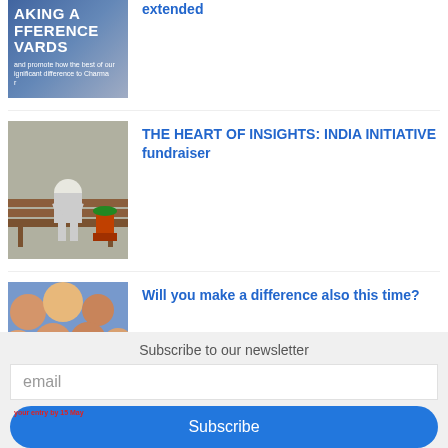extended
THE HEART OF INSIGHTS: INDIA INITIATIVE fundraiser
Will you make a difference also this time?
Subscribe to our newsletter
email
Subscribe